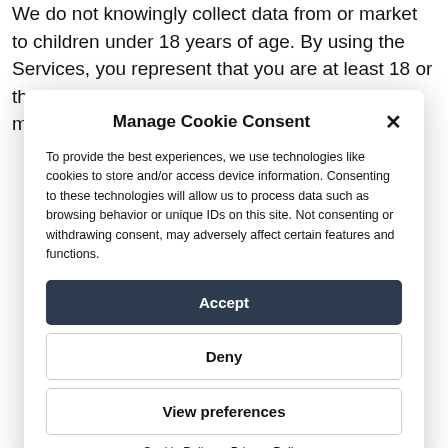We do not knowingly collect data from or market to children under 18 years of age. By using the Services, you represent that you are at least 18 or that you are the parent or guardian of such a minor and consent
Manage Cookie Consent
To provide the best experiences, we use technologies like cookies to store and/or access device information. Consenting to these technologies will allow us to process data such as browsing behavior or unique IDs on this site. Not consenting or withdrawing consent, may adversely affect certain features and functions.
Accept
Deny
View preferences
Cookie Policy   Privacy Policy